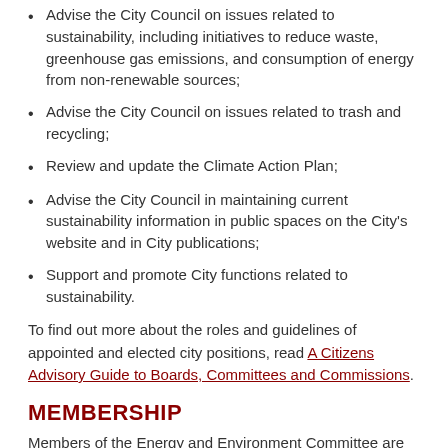Advise the City Council on issues related to sustainability, including initiatives to reduce waste, greenhouse gas emissions, and consumption of energy from non-renewable sources;
Advise the City Council on issues related to trash and recycling;
Review and update the Climate Action Plan;
Advise the City Council in maintaining current sustainability information in public spaces on the City's website and in City publications;
Support and promote City functions related to sustainability.
To find out more about the roles and guidelines of appointed and elected city positions, read A Citizens Advisory Guide to Boards, Committees and Commissions.
MEMBERSHIP
Members of the Energy and Environment Committee are residents of Creve Coeur and owners, managers or